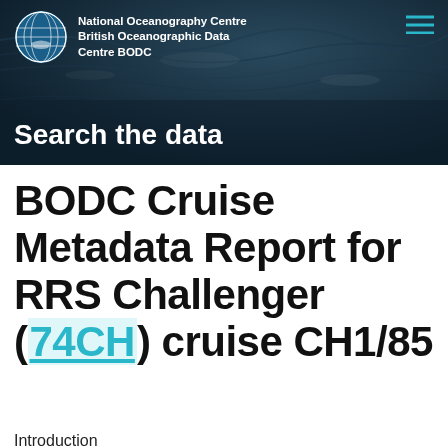[Figure (screenshot): Header banner with dark ocean water background image, National Oceanography Centre / British Oceanographic Data Centre BODC logo with globe icon on left, hamburger menu icon (teal lines) on right, and 'Search the data' text in white bold at bottom left.]
BODC Cruise Metadata Report for RRS Challenger (74CH) cruise CH1/85
Introduction